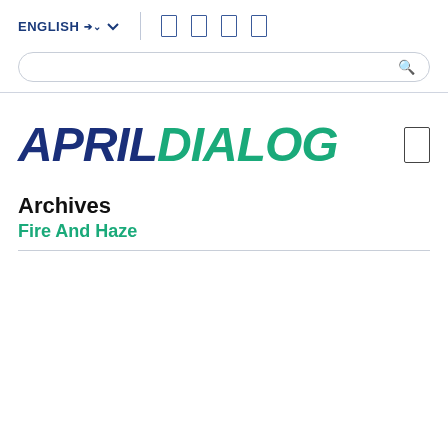ENGLISH | [icons]
[Search bar]
[Figure (logo): APRIL DIALOG logo — APRIL in dark navy bold italic, DIALOG in teal/green bold italic]
Archives
Fire And Haze